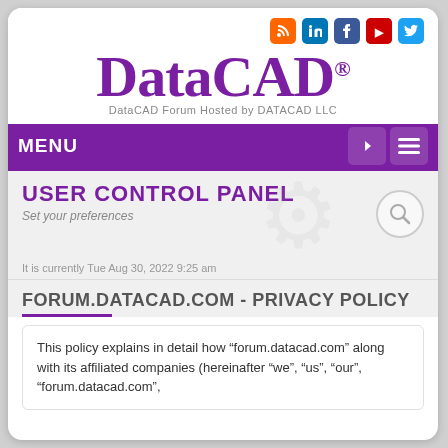[Figure (logo): DataCAD logo with purple stylized text and social media icons (RSS, LinkedIn, Facebook, YouTube, Twitter). Subtitle: DataCAD Forum Hosted by DATACAD LLC]
MENU
USER CONTROL PANEL
Set your preferences
It is currently Tue Aug 30, 2022 9:25 am
FORUM.DATACAD.COM - PRIVACY POLICY
This policy explains in detail how “forum.datacad.com” along with its affiliated companies (hereinafter “we”, “us”, “our”, “forum.datacad.com”,